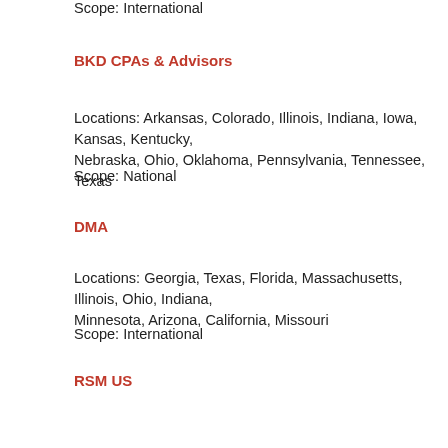Scope: International
BKD CPAs & Advisors
Locations: Arkansas, Colorado, Illinois, Indiana, Iowa, Kansas, Kentucky, Nebraska, Ohio, Oklahoma, Pennsylvania, Tennessee, Texas
Scope: National
DMA
Locations: Georgia, Texas, Florida, Massachusetts, Illinois, Ohio, Indiana, Minnesota, Arizona, California, Missouri
Scope: International
RSM US
Locations: Alabama, Arizona, California, Colorado, Connecticut, Washington, Illinois, Indiana, Iowa, Kansas, Maryland, Massachusetts, Minnesota, Mississippi, New Jersey, New York, North Carolina, Ohio, Oklahoma, Pennsylvania, South Washington, Wisconsin.
Scope: International